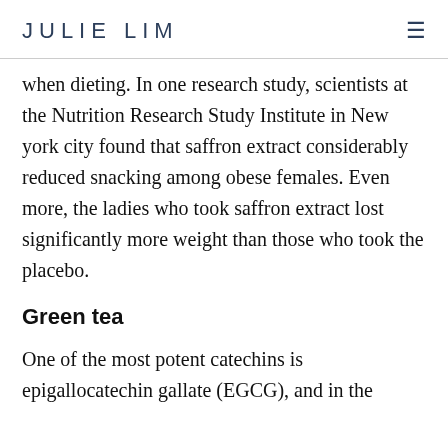JULIE LIM
when dieting. In one research study, scientists at the Nutrition Research Study Institute in New york city found that saffron extract considerably reduced snacking among obese females. Even more, the ladies who took saffron extract lost significantly more weight than those who took the placebo.
Green tea
One of the most potent catechins is epigallocatechin gallate (EGCG), and in the